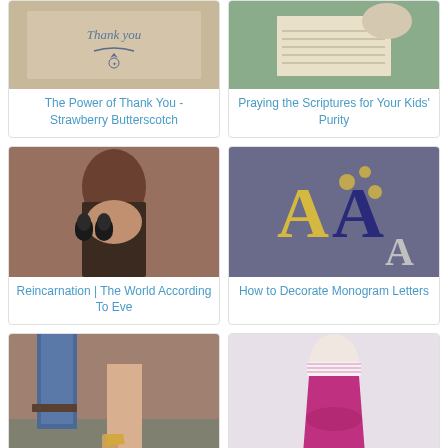[Figure (photo): Thank you card with cursive text and decorative emblem on aged paper background]
The Power of Thank You - Strawberry Butterscotch
[Figure (photo): Hands holding open a book, reading scriptures]
Praying the Scriptures for Your Kids' Purity
[Figure (photo): Young woman with dark hair and sunglasses outdoors]
Reincarnation | The World According To Eve
[Figure (photo): Decorative monogram letters A in gold, navy with polka dots, and silver glitter on gray background]
How to Decorate Monogram Letters
[Figure (photo): Two people standing on brick steps, one in jeans and brown shoes, one in high heels]
Putting away my high heels
[Figure (photo): Barbie doll wearing a pink floral dress with lace trim]
5 a Week: Tiny Doll Dresses